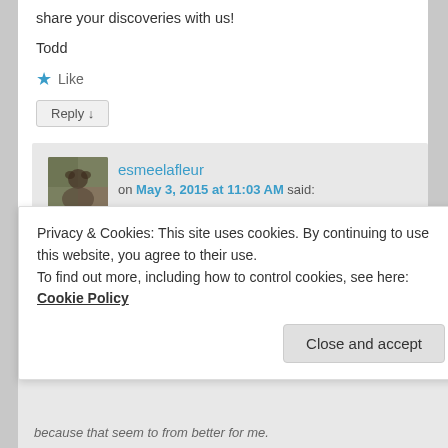approach, as well as for all your hard work to share your discoveries with us!
Todd
★ Like
Reply ↓
esmeelafleur on May 3, 2015 at 11:03 AM said:
Hi Todd, I have found a butcher who gets fresh pork in once a week. They are able
Privacy & Cookies: This site uses cookies. By continuing to use this website, you agree to their use. To find out more, including how to control cookies, see here: Cookie Policy
Close and accept
because that seem to from better for me.